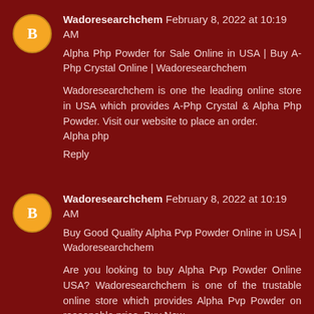Wadoresearchchem February 8, 2022 at 10:19 AM
Alpha Php Powder for Sale Online in USA | Buy A-Php Crystal Online | Wadoresearchchem
Wadoresearchchem is one the leading online store in USA which provides A-Php Crystal & Alpha Php Powder. Visit our website to place an order.
Alpha php
Reply
Wadoresearchchem February 8, 2022 at 10:19 AM
Buy Good Quality Alpha Pvp Powder Online in USA | Wadoresearchchem
Are you looking to buy Alpha Pvp Powder Online USA? Wadoresearchchem is one of the trustable online store which provides Alpha Pvp Powder on reasonable price. Buy Now.
Alpha pvp